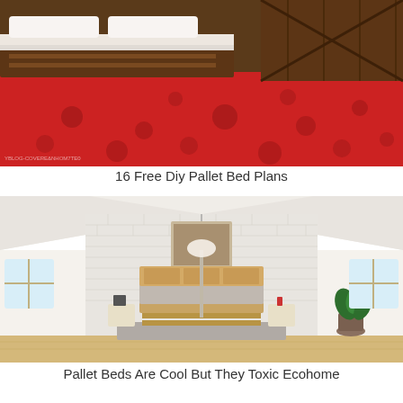[Figure (photo): Bedroom with a pallet bed frame topped with white pillows and mattress, red shag carpet on the floor with circular cutouts pattern, wooden plank wall in the background.]
16 Free Diy Pallet Bed Plans
[Figure (photo): Attic bedroom with sloped white ceiling, pallet bed with light wood headboard on a gray rug, floor lamp, white brick accent wall, two windows on sides, painting on wall, green plant, and hardwood floor.]
Pallet Beds Are Cool But They Toxic Ecohome